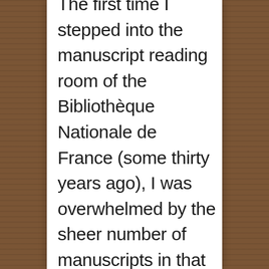The first time I stepped into the manuscript reading room of the Bibliothèque Nationale de France (some thirty years ago), I was overwhelmed by the sheer number of manuscripts in that single impressive repository. To appreciate those documents, however, it was necessary to visit the reading room, as only a very small fraction was available in printed reproductions. In my own humble attempt to bring a few manuscripts to light, I had received permission to photograph and to distribute on line. Circulation started as an ftp distribution site in 1993 (before the web browsers were